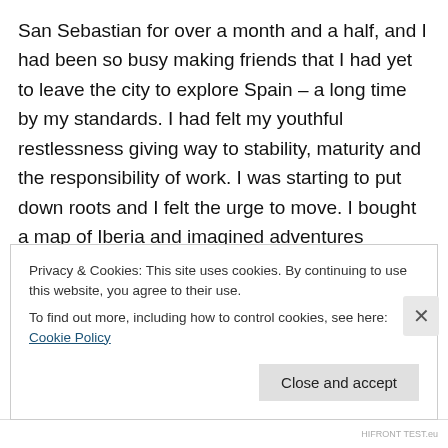San Sebastian for over a month and a half, and I had been so busy making friends that I had yet to leave the city to explore Spain – a long time by my standards. I had felt my youthful restlessness giving way to stability, maturity and the responsibility of work. I was starting to put down roots and I felt the urge to move. I bought a map of Iberia and imagined adventures between my home on the northern coast and the distant towns of Seville, Lisbon, and Barcelona.
I jumped at the first opportunity – a four day weekend, plenty of time for adventure. I bid farewell to my
Privacy & Cookies: This site uses cookies. By continuing to use this website, you agree to their use.
To find out more, including how to control cookies, see here: Cookie Policy
Close and accept
HIFRONT TEST.eu